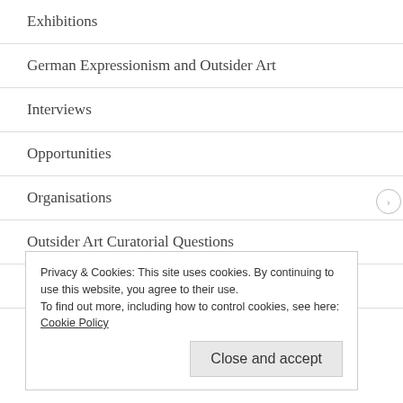Exhibitions
German Expressionism and Outsider Art
Interviews
Opportunities
Organisations
Outsider Art Curatorial Questions
Outsider Art Round-Up
Privacy & Cookies: This site uses cookies. By continuing to use this website, you agree to their use.
To find out more, including how to control cookies, see here: Cookie Policy
Close and accept